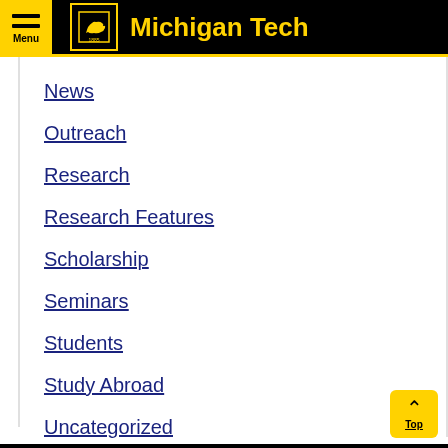Michigan Tech
News
Outreach
Research
Research Features
Scholarship
Seminars
Students
Study Abroad
Uncategorized